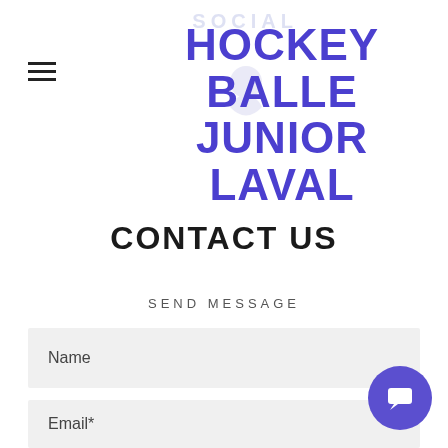HOCKEY BALLE JUNIOR LAVAL
CONTACT US
SEND MESSAGE
Name
Email*